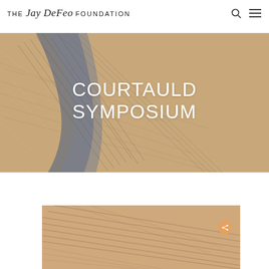THE Jay DeFeo FOUNDATION
[Figure (photo): Abstract close-up painting with swirling brushstrokes in sandy beige and dark blue-grey tones, background hero image for Courtauld Symposium]
COURTAULD SYMPOSIUM
[Figure (photo): Partial view of a painting with warm sandy beige tones and fine dark linear brushstrokes, shown at the bottom of the page]